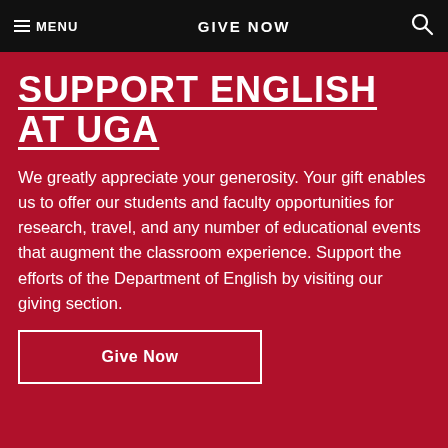MENU  GIVE NOW  🔍
SUPPORT ENGLISH AT UGA
We greatly appreciate your generosity. Your gift enables us to offer our students and faculty opportunities for research, travel, and any number of educational events that augment the classroom experience. Support the efforts of the Department of English by visiting our giving section.
Give Now